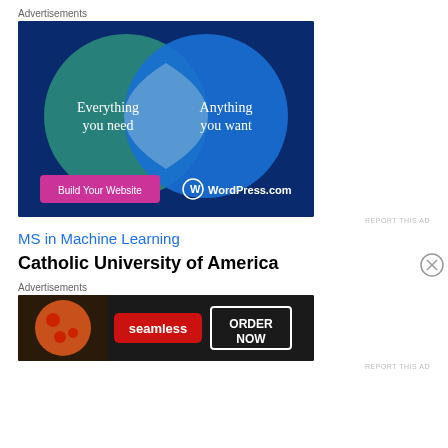Advertisements
[Figure (illustration): WordPress.com advertisement showing two overlapping circles (Venn diagram) on dark blue background. Left circle is teal/green with text 'Everything you need', right circle is blue with text 'Anything you want'. Bottom has a pink button 'Build Your Website' and WordPress.com logo.]
REPORT THIS AD
MS in Machine Learning
Catholic University of America
Advertisements
[Figure (illustration): Seamless food delivery advertisement. Shows pizza image on left, red Seamless logo in center, white 'ORDER NOW' box on right, on dark background.]
REPORT THIS AD